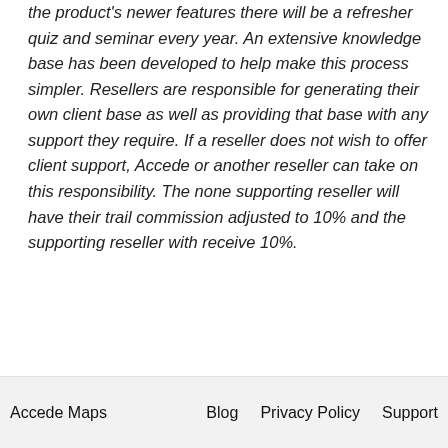the product's newer features there will be a refresher quiz and seminar every year. An extensive knowledge base has been developed to help make this process simpler. Resellers are responsible for generating their own client base as well as providing that base with any support they require. If a reseller does not wish to offer client support, Accede or another reseller can take on this responsibility. The none supporting reseller will have their trail commission adjusted to 10% and the supporting reseller with receive 10%.
Accede Maps    Blog    Privacy Policy    Support